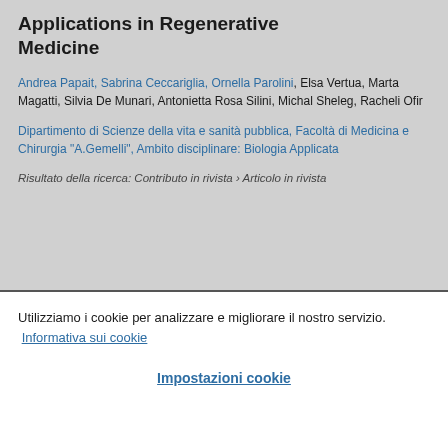Applications in Regenerative Medicine
Andrea Papait, Sabrina Ceccariglia, Ornella Parolini, Elsa Vertua, Marta Magatti, Silvia De Munari, Antonietta Rosa Silini, Michal Sheleg, Racheli Ofir
Dipartimento di Scienze della vita e sanità pubblica, Facoltà di Medicina e Chirurgia "A.Gemelli", Ambito disciplinare: Biologia Applicata
Risultato della ricerca: Contributo in rivista › Articolo in rivista
Utilizziamo i cookie per analizzare e migliorare il nostro servizio. Informativa sui cookie
Impostazioni cookie